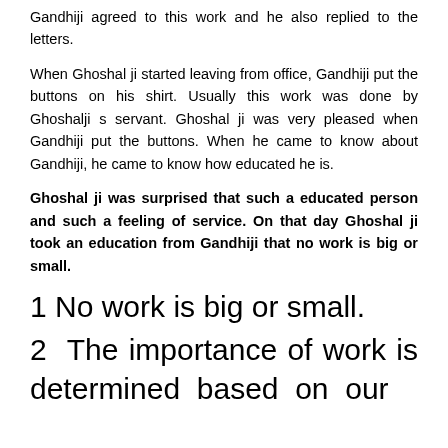Gandhiji agreed to this work and he also replied to the letters.
When Ghoshal ji started leaving from office, Gandhiji put the buttons on his shirt. Usually this work was done by Ghoshalji s servant. Ghoshal ji was very pleased when Gandhiji put the buttons. When he came to know about Gandhiji, he came to know how educated he is.
Ghoshal ji was surprised that such a educated person and such a feeling of service. On that day Ghoshal ji took an education from Gandhiji that no work is big or small.
1 No work is big or small.
2  The importance of work is determined  based  on  our